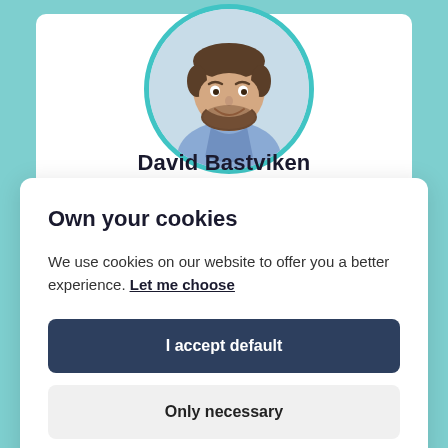[Figure (photo): Circular profile photo of a smiling bearded man in a light blue shirt, framed with a teal/cyan circle border]
David Bastviken
Professor
Own your cookies
We use cookies on our website to offer you a better experience. Let me choose
I accept default
Only necessary